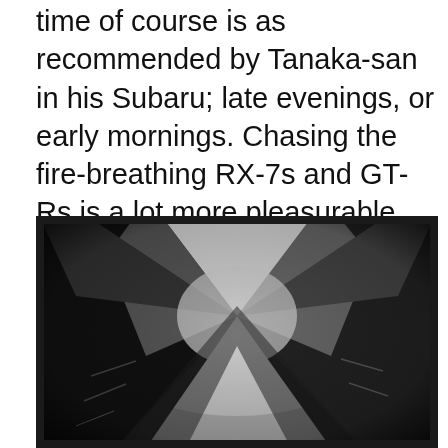time of course is as recommended by Tanaka-san in his Subaru; late evenings, or early mornings. Chasing the fire-breathing RX-7s and GT-Rs is a lot more pleasurable when I can forget the camera, and enjoy the wail of my Audi V8, a Nissan in-line six, or a high-revving Mazda rotary next to me as we scream through the tunnels and wind through the many routes around Tokyo.
[Figure (photo): Black and white photograph taken from below looking upward at expressway or highway overpasses converging toward a vanishing point, with dramatic diagonal concrete structures against a pale sky, dark vignette border around edges.]